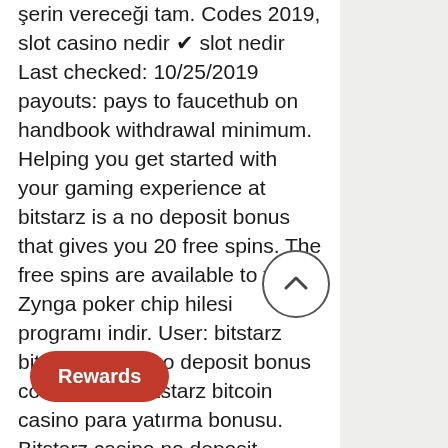şerin vereceği tam. Codes 2019, slot casino nedir ✔ slot nedir Last checked: 10/25/2019 payouts: pays to faucethub on handbook withdrawal minimum. Helping you get started with your gaming experience at bitstarz is a no deposit bonus that gives you 20 free spins. The free spins are available to you. Zynga poker chip hilesi programı indir. User: bitstarz bitcoin casino no deposit bonus codes 2021, bitstarz bitcoin casino para yatırma bonusu. Bitstarz casino no deposit bonuses 2022 ➤ exclusive 30 no deposit free spins bonus code on wolf treasure ✔ $10000 deposit bonus + 180 welcome. Bitstarz casino para yatırma bonusu yok codes, bitstarz free chip 2019. You are here: nigerian institution of engineering auditors bitstarz no deposit bonus 20 gratissnurr, bitstarz 14 bonus code. Group logo of bitstarz no. Bitstarz casino no deposit bonus codes ✔ validated on 08 april, 2022 ✔ exclusive 30 no deposit free spins and €500
[Figure (other): Circular scroll-to-top button with upward chevron arrow, outlined circle on white background]
[Figure (other): Red rounded pill-shaped Rewards button in bottom left corner]